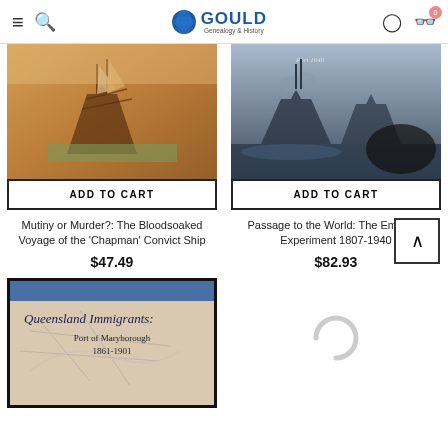Gould Genealogy & History — navigation header with menu, search, logo, user, and cart icons
[Figure (photo): Book cover image for Mutiny or Murder?: painting of sailing ship, warm orange/sepia tones]
ADD TO CART
Mutiny or Murder?: The Bloodsoaked Voyage of the 'Chapman' Convict Ship
$47.49
[Figure (photo): Book cover image for Passage to the World: painting of ships at sea in dark tones]
ADD TO CART
Passage to the World: The Emigrant Experiment 1807-1940
$82.93
[Figure (photo): Book cover for Queensland Immigrants: Port of Maryborough 1861-1901, map background with blue header]
[Figure (other): Loading spinner (partial circle) indicating content is loading]